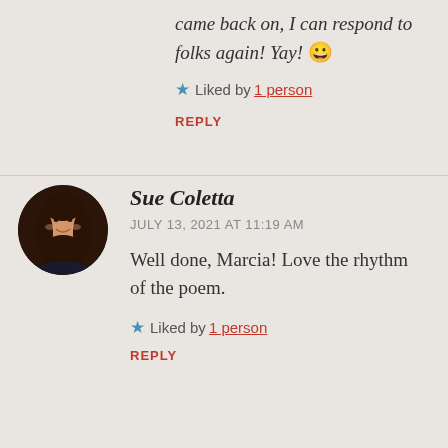came back on, I can respond to folks again! Yay! 😀
Liked by 1 person
REPLY
[Figure (photo): Circular avatar photo of Sue Coletta, a woman with long dark hair]
Sue Coletta
JULY 13, 2021 AT 11:19 AM
Well done, Marcia! Love the rhythm of the poem.
Liked by 1 person
REPLY